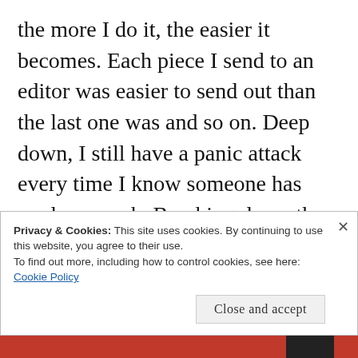the more I do it, the easier it becomes. Each piece I send to an editor was easier to send out than the last one was and so on. Deep down, I still have a panic attack every time I know someone has read my work. Breaking down the walls around me and allowing myself to be picked apart is still a little painful to my freshly hardened skin, but the wounds have healed and the scar tissue makes me stronger.  Opening up has
Privacy & Cookies: This site uses cookies. By continuing to use this website, you agree to their use.
To find out more, including how to control cookies, see here: Cookie Policy
Close and accept